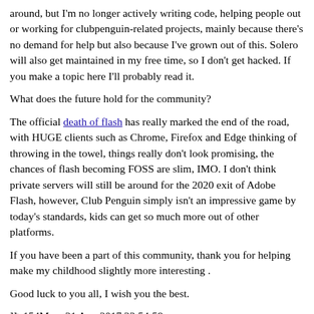around, but I'm no longer actively writing code, helping people out or working for clubpenguin-related projects, mainly because there's no demand for help but also because I've grown out of this. Solero will also get maintained in my free time, so I don't get hacked. If you make a topic here I'll probably read it.
What does the future hold for the community?
The official death of flash has really marked the end of the road, with HUGE clients such as Chrome, Firefox and Edge thinking of throwing in the towel, things really don't look promising, the chances of flash becoming FOSS are slim, IMO. I don't think private servers will still be around for the 2020 exit of Adobe Flash, however, Club Penguin simply isn't an impressive game by today's standards, kids can get so much more out of other platforms.
If you have been a part of this community, thank you for helping make my childhood slightly more interesting .
Good luck to you all, I wish you the best.
]]>154Mon, 21 Aug 2017 23:54:58 +0000https://archive.solero.me/topic/5-were-back/ GreetingsÂ everyone!